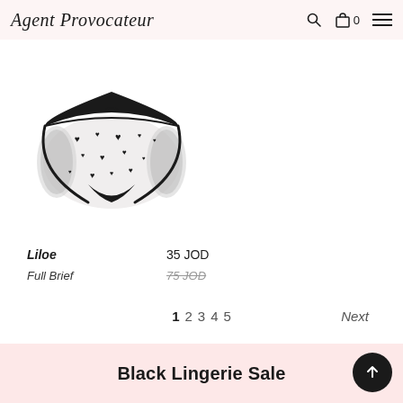Agent Provocateur
[Figure (photo): Black lace and mesh full brief underwear with heart pattern, displayed on white background. Black trim and lace edges.]
Liloe | Full Brief
35 JOD | 75 JOD (original price, strikethrough)
1  2  3  4  5  Next
Black Lingerie Sale